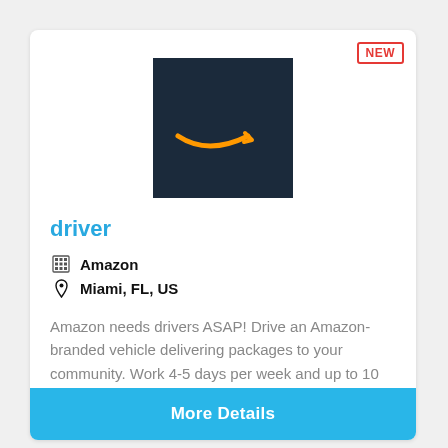[Figure (logo): Amazon logo — white arrow/smile on dark navy background]
driver
Amazon
Miami, FL, US
Amazon needs drivers ASAP! Drive an Amazon-branded vehicle delivering packages to your community. Work 4-5 days per week and up to 10 hours per day with shifts available seven days a week. The pay is...
More Details